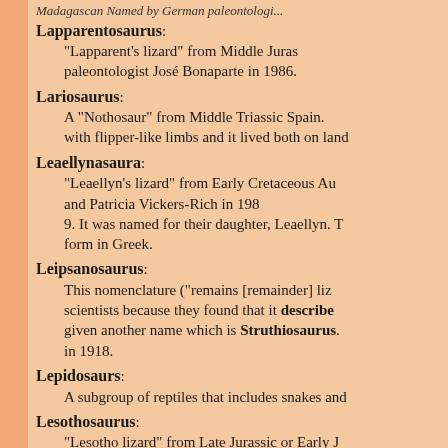Lapparentosaurus: "Lapparent's lizard" from Middle Juras... paleontologist José Bonaparte in 1986.
Lariosaurus: A "Nothosaur" from Middle Triassic Spain. with flipper-like limbs and it lived both on land...
Leaellynasaura: "Leaellyn's lizard" from Early Cretaceous Au... and Patricia Vickers-Rich in 198 9. It was named for their daughter, Leaellyn. T... form in Greek.
Leipsanosaurus: This nomenclature ("remains [remainder] liz...) scientists because they found that it described... given another name which is Struthiosaurus. in 1918.
Lepidosaurs: A subgroup of reptiles that includes snakes and...
Lesothosaurus: "Lesotho lizard" from Late Jurassic or Early J... It was an early ornithopod, a small, fast, bipe...